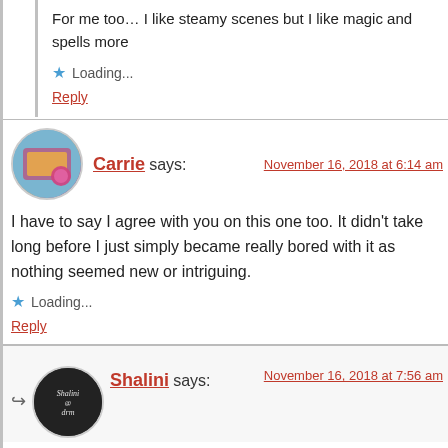For me too… I like steamy scenes but I like magic and spells more
Loading...
Reply
Carrie says:
November 16, 2018 at 6:14 am
I have to say I agree with you on this one too. It didn't take long before I just simply became really bored with it as nothing seemed new or intriguing.
Loading...
Reply
Shalini says:
November 16, 2018 at 7:56 am